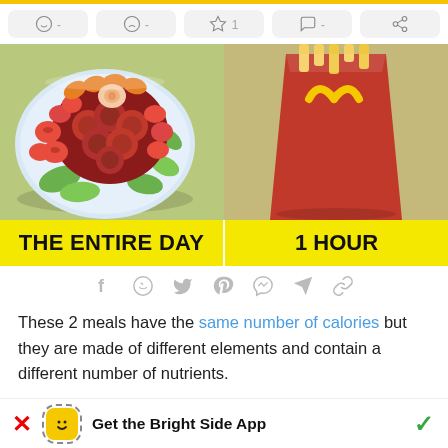[Figure (infographic): Top action bar with emoji, sad face, star (1), comment, and share icons on light grey pill buttons]
[Figure (illustration): Two-panel illustration: left panel shows a colorful salad bowl on green background, right panel shows a red fries container on tan/khaki background]
THE ENTIRE DAY | 1 HOUR
[Figure (infographic): Social share icons row: Facebook, WhatsApp, Twitter, Pinterest, Messenger, Telegram, Link]
These 2 meals have the same number of calories but they are made of different elements and contain a different number of nutrients.
[Figure (infographic): App download banner: X button, Bright Side App icon (yellow with smiley), Get the Bright Side App text, checkmark]